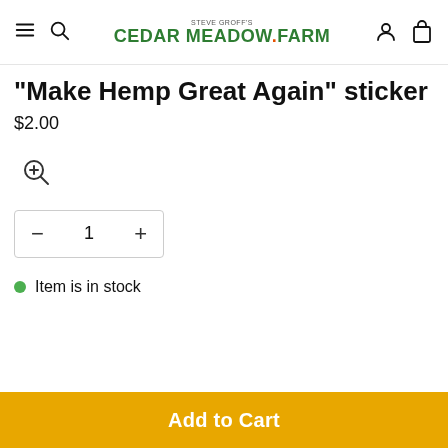Steve Groff's Cedar Meadow Farm
"Make Hemp Great Again" sticker
$2.00
[Figure (other): Zoom/magnify icon (circle with plus)]
1 (quantity selector with minus and plus buttons)
Item is in stock
Add to Cart